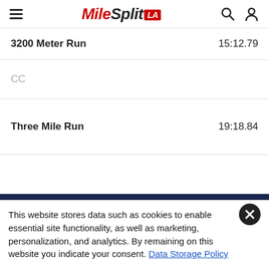MileSplit LA
3200 Meter Run — 15:12.79
CC
Three Mile Run — 19:18.84
This website stores data such as cookies to enable essential site functionality, as well as marketing, personalization, and analytics. By remaining on this website you indicate your consent. Data Storage Policy